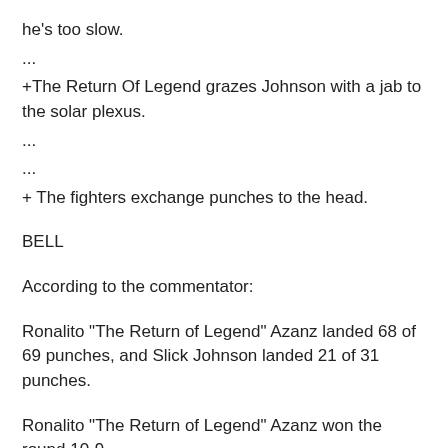he's too slow.
...
+The Return Of Legend grazes Johnson with a jab to the solar plexus.
...
...
+ The fighters exchange punches to the head.
BELL
According to the commentator:
Ronalito "The Return of Legend" Azanz landed 68 of 69 punches, and Slick Johnson landed 21 of 31 punches.
Ronalito "The Return of Legend" Azanz won the round 10-9
Ronalito "The Return of Legend" Azanz is winning the fight